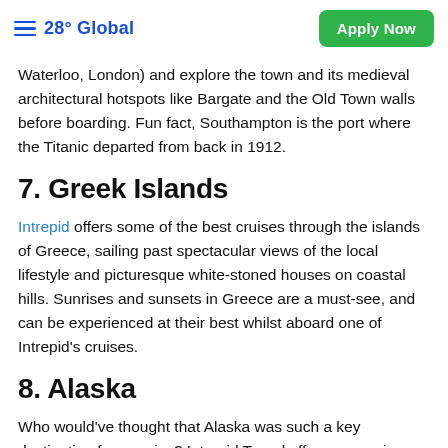28° Global   Apply Now
Waterloo, London) and explore the town and its medieval architectural hotspots like Bargate and the Old Town walls before boarding. Fun fact, Southampton is the port where the Titanic departed from back in 1912.
7. Greek Islands
Intrepid offers some of the best cruises through the islands of Greece, sailing past spectacular views of the local lifestyle and picturesque white-stoned houses on coastal hills. Sunrises and sunsets in Greece are a must-see, and can be experienced at their best whilst aboard one of Intrepid's cruises.
8. Alaska
Who would've thought that Alaska was such a key destination for a cruise? Intrepid Travel offers a once in a